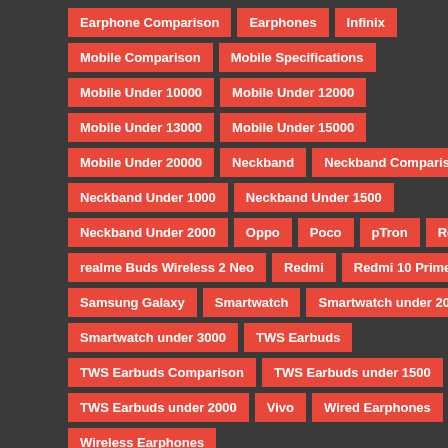Earphone Comparison
Earphones
Infinix
Mobile Comparison
Mobile Specifications
Mobile Under 10000
Mobile Under 12000
Mobile Under 13000
Mobile Under 15000
Mobile Under 20000
Neckband
Neckband Comparison
Neckband Under 1000
Neckband Under 1500
Neckband Under 2000
Oppo
Poco
pTron
Realme
realme Buds Wireless 2 Neo
Redmi
Redmi 10 Prime
Samsung Galaxy
Smartwatch
Smartwatch under 2000
Smartwatch under 3000
TWS Earbuds
TWS Earbuds Comparison
TWS Earbuds under 1500
TWS Earbuds under 2000
Vivo
Wired Earphones
Wireless Earphones